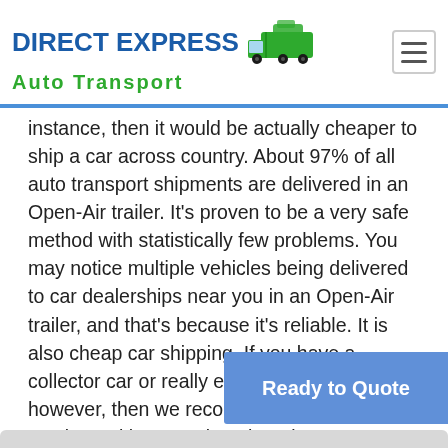DIRECT EXPRESS Auto Transport
instance, then it would be actually cheaper to ship a car across country. About 97% of all auto transport shipments are delivered in an Open-Air trailer. It's proven to be a very safe method with statistically few problems. You may notice multiple vehicles being delivered to car dealerships near you in an Open-Air trailer, and that's because it's reliable. It is also cheap car shipping. If you have a collector car or really expensive automobile, however, then we recommend car shipping services with an Enclosed carrier. Expect to pay about 50% more for Enclosed transport. Our car shipping cost calculator automatically adds the extra amount to your auto transport quo...
Ready to Quote